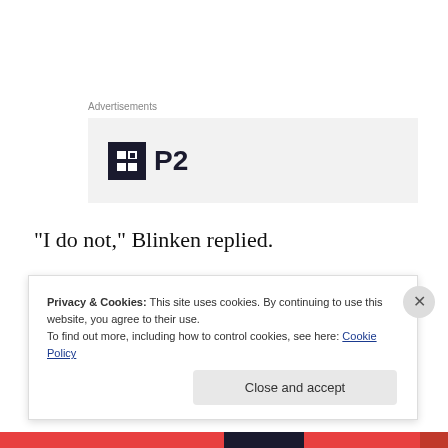Advertisements
[Figure (logo): P2 logo with dark square icon containing white H shape and bold P2 text, inside a light gray advertisement box]
“I do not,” Blinken replied.
“You have no doubt?” Rubio chimed.
“I have no doubt,” Blinken restated.
Privacy & Cookies: This site uses cookies. By continuing to use this website, you agree to their use.
To find out more, including how to control cookies, see here: Cookie Policy